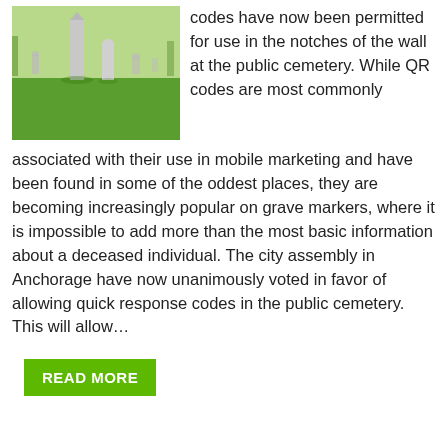[Figure (photo): Cemetery with grave markers and green grass, tombstones including a tall obelisk-style monument]
codes have now been permitted for use in the notches of the wall at the public cemetery. While QR codes are most commonly associated with their use in mobile marketing and have been found in some of the oddest places, they are becoming increasingly popular on grave markers, where it is impossible to add more than the most basic information about a deceased individual. The city assembly in Anchorage have now unanimously voted in favor of allowing quick response codes in the public cemetery. This will allow…
READ MORE